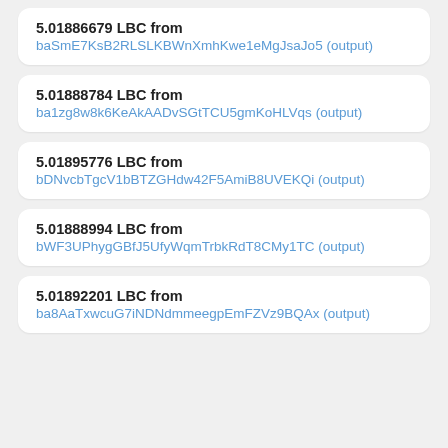5.01886679 LBC from baSmE7KsB2RLSLKBWnXmhKwe1eMgJsaJo5 (output)
5.01888784 LBC from ba1zg8w8k6KeAkAADvSGtTCU5gmKoHLVqs (output)
5.01895776 LBC from bDNvcbTgcV1bBTZGHdw42F5AmiB8UVEKQi (output)
5.01888994 LBC from bWF3UPhygGBfJ5UfyWqmTrbkRdT8CMy1TC (output)
5.01892201 LBC from ba8AaTxwcuG7iNDNdmmeegpEmFZVz9BQAx (output)